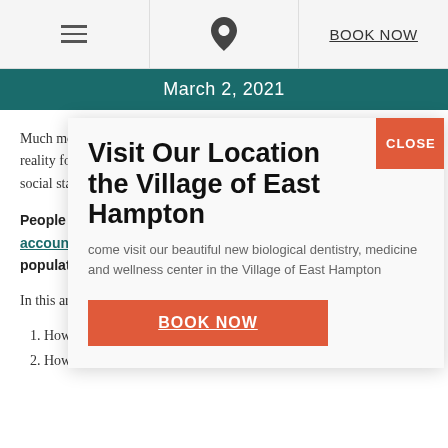≡  [location icon]  BOOK NOW
March 2, 2021
Much more than reality for many people social standing.
People who de account for an population.
In this article, I w
1. How to rec
2. How to cope with dental anxiety
Visit Our Location the Village of East Hampton
come visit our beautiful new biological dentistry, medicine and wellness center in the Village of East Hampton
CLOSE
BOOK NOW